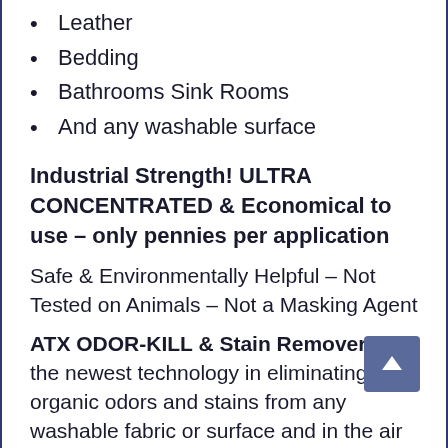Leather
Bedding
Bathrooms Sink Rooms
And any washable surface
Industrial Strength! ULTRA CONCENTRATED & Economical to use – only pennies per application
Safe & Environmentally Helpful – Not Tested on Animals – Not a Masking Agent
ATX ODOR-KILL & Stain Remover is the newest technology in eliminating organic odors and stains from any washable fabric or surface and in the air
Non-Toxic